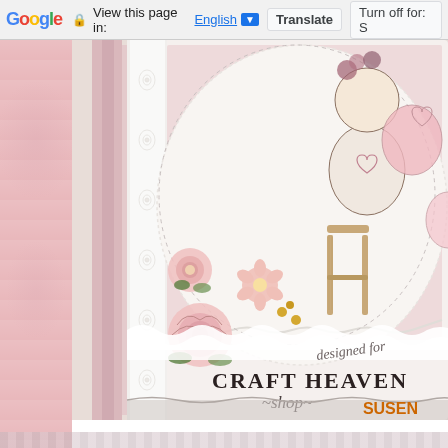Google  View this page in: English [▼]  Translate  Turn off for: S
[Figure (photo): Close-up of a handcrafted greeting card featuring lace trim, pink roses, small pink flowers, scalloped white borders, a stamped illustration of a girl sitting on a stool with heart decorations, and the text 'designed for CRAFT HEAVEN shop Barbara' stamped on the card. The background shows layers of pink patterned paper.]
SUSEN